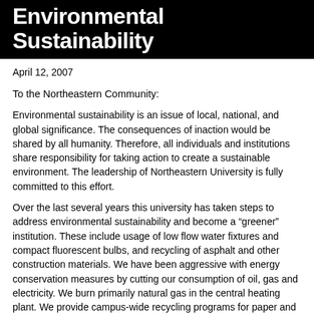Environmental Sustainability
April 12, 2007
To the Northeastern Community:
Environmental sustainability is an issue of local, national, and global significance. The consequences of inaction would be shared by all humanity. Therefore, all individuals and institutions share responsibility for taking action to create a sustainable environment. The leadership of Northeastern University is fully committed to this effort.
Over the last several years this university has taken steps to address environmental sustainability and become a “greener” institution. These include usage of low flow water fixtures and compact fluorescent bulbs, and recycling of asphalt and other construction materials. We have been aggressive with energy conservation measures by cutting our consumption of oil, gas and electricity. We burn primarily natural gas in the central heating plant. We provide campus-wide recycling programs for paper and plastics. These important steps provide a foundation upon which we will build.
Going forward, we will accelerate the greening of all of our facilities in Boston and elsewhere. I have made it a top priority